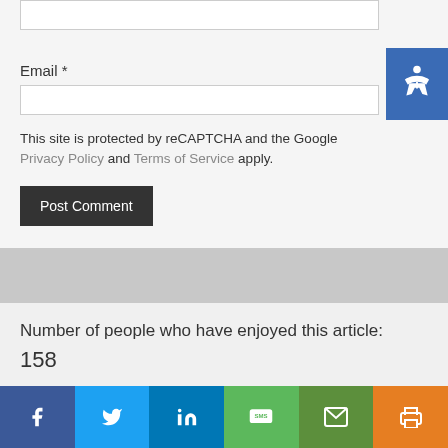Email *
This site is protected by reCAPTCHA and the Google Privacy Policy and Terms of Service apply.
Post Comment
Number of people who have enjoyed this article:
158
[Figure (infographic): Share bar with social media buttons: Facebook (blue), Twitter (light blue), LinkedIn (dark blue), SMS (green), Email (dark green), Print (orange)]